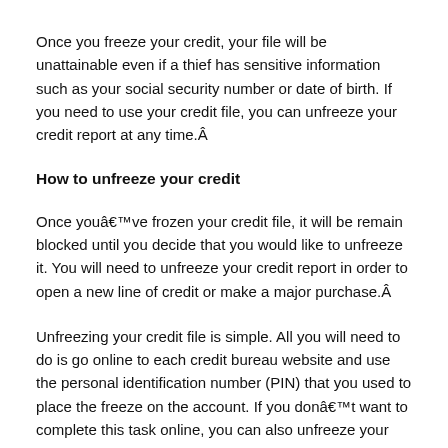Once you freeze your credit, your file will be unattainable even if a thief has sensitive information such as your social security number or date of birth. If you need to use your credit file, you can unfreeze your credit report at any time.Â
How to unfreeze your credit
Once youâve frozen your credit file, it will be remain blocked until you decide that you would like to unfreeze it. You will need to unfreeze your credit report in order to open a new line of credit or make a major purchase.Â
Unfreezing your credit file is simple. All you will need to do is go online to each credit bureau website and use the personal identification number (PIN) that you used to place the freeze on the account. If you donât want to complete this task online, you can also unfreeze your